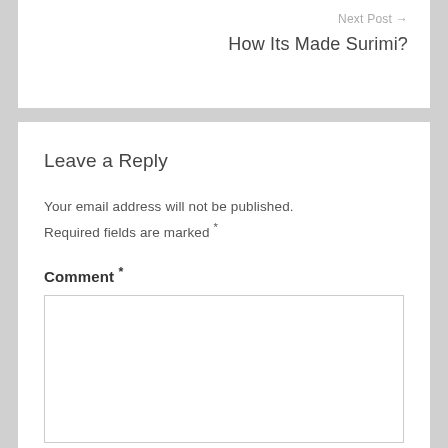Next Post →
How Its Made Surimi?
Leave a Reply
Your email address will not be published. Required fields are marked *
Comment *